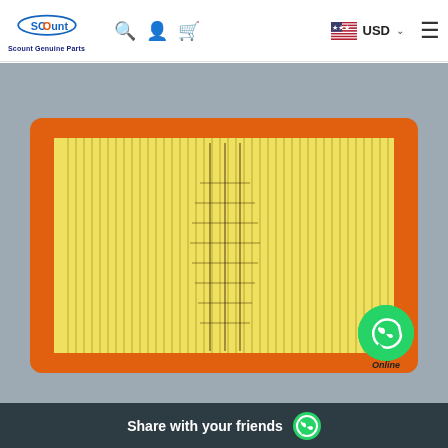Scount Genuine Parts — USD — navigation header
[Figure (photo): Close-up photo of a rectangular engine air filter with an orange rubber frame and yellow pleated filter element, photographed on a gray background. A WhatsApp 'Online' button appears in the lower right corner of the image.]
Share with your friends